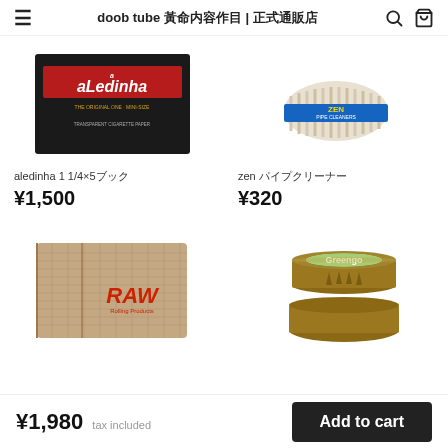doob tube ???????????? | ?????????? [search] [cart]
[Figure (photo): aLedinha cigarette paper pack - black box with red label]
[Figure (photo): Zen pipe cleaners - white cotton bundle with blue label]
aledinha 1 1/4×5????
¥1,500
zen ???????????
¥320
[Figure (photo): RAW rolling tray/wallet - burlap textured with RAW logo]
[Figure (photo): Greengo herb grinder - brown plastic two-piece grinder]
¥1,980 tax included
Add to cart